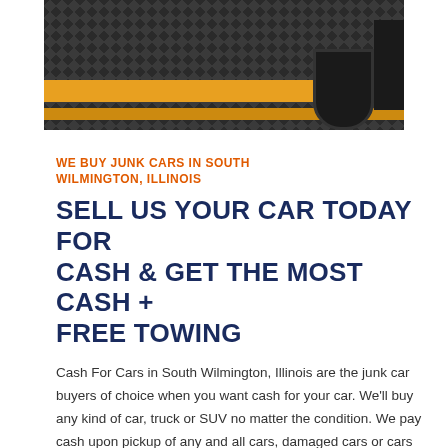[Figure (photo): Close-up photo of a yellow tow truck ramp/flatbed with diamond-plate metal surface and a wheel/tire visible, dark industrial background]
WE BUY JUNK CARS IN SOUTH WILMINGTON, ILLINOIS
SELL US YOUR CAR TODAY FOR CASH & GET THE MOST CASH + FREE TOWING
Cash For Cars in South Wilmington, Illinois are the junk car buyers of choice when you want cash for your car. We'll buy any kind of car, truck or SUV no matter the condition. We pay cash upon pickup of any and all cars, damaged cars or cars and trucks that have been wrecked in automobile accidents. We will always pick up your vehicle free of charge anywhere in South Wilmington, Illinois. We will usually pick it up the same